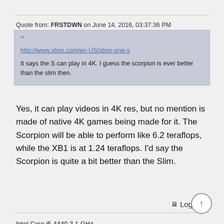Quote from: FRSTDWN on June 14, 2016, 03:37:36 PM
http://www.xbox.com/en-US/xbox-one-s

It says the S can play in 4K. I guess the scorpion is ever better than the slim then.
Yes, it can play videos in 4K res, but no mention is made of native 4K games being made for it.  The Scorpion will be able to perform like 6.2 teraflops, while the XB1 is at 1.24 teraflops.  I'd say the Scorpion is quite a bit better than the Slim.
Logged
Intel Core i5-4440 3.1 GHz
Geforce GTX 1070 8 GB
16 GB PC-1600 DDR3 RAM
Windows 10 64 bit